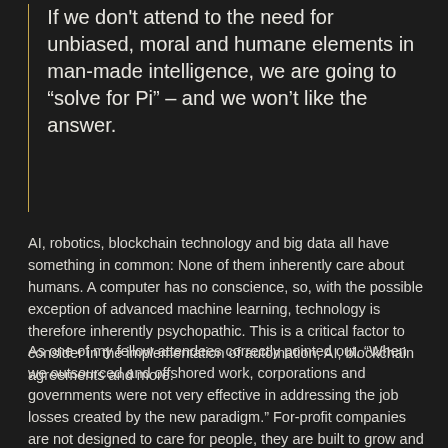If we don't attend to the need for unbiased, moral and humane elements in man-made intelligence, we are going to “solve for Pi” – and we won't like the answer.
AI, robotics, blockchain technology and big data all have something in common: None of them inherently care about humans. A computer has no conscience, so, with the possible exception of advanced machine learning, technology is therefore inherently psychopathic. This is a critical factor to consider in the implementation of automation, AI, blockchain agreements and more.
As one of my fellow attendees correctly pointed out, “When we outsourced and offshored work, corporations and governments were not very effective in addressing the job losses created by the new paradigm.” For-profit companies are not designed to care for people, they are built to grow and